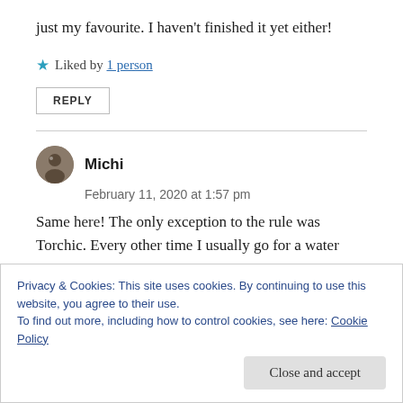just my favourite. I haven't finished it yet either!
★ Liked by 1 person
REPLY
Michi
February 11, 2020 at 1:57 pm
Same here! The only exception to the rule was Torchic. Every other time I usually go for a water starter!
Privacy & Cookies: This site uses cookies. By continuing to use this website, you agree to their use.
To find out more, including how to control cookies, see here: Cookie Policy
Close and accept